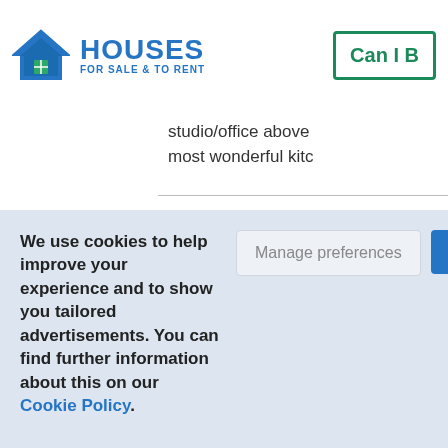[Figure (logo): Houses For Sale & To Rent logo with house icon in blue and green]
Can I B
studio/office above most wonderful kitc
We use cookies to help improve your experience and to show you tailored advertisements. You can find further information about this on our Cookie Policy.